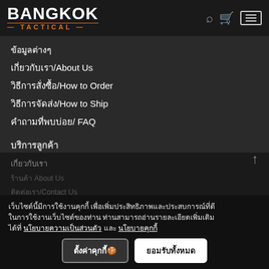[Figure (logo): Bangkok Tactical logo — BANGKOK in white bold, TACTICAL in orange below with decorative lines]
ข้อมูลต่างๆ
เกี่ยวกับเรา/About Us
วิธีการสั่งซื้อ/How to Order
วิธีการจัดส่ง/How to Ship
คำถามที่พบบ่อย/ FAQ
บริการลูกค้า
แจ้งการชำระเงิน
ตรวจสอบหมายเลขพัสดุ
บริหารจัดหาสินค้า Pre-order
บริการส่งด่วน ภายใน 1-3 ชม. (กทม)
เกี่ยวกับเรา
ร้านค้า About Us
ติดต่อเรา/Contact Us
แผนที่ร้าน Google Map
เว็บไซต์นี้มีการใช้งานคุกกี้ เพื่อเพิ่มประสิทธิภาพและประสบการณ์ที่ดีในการใช้งานเว็บไซต์ของท่าน ท่านสามารถอ่านรายละเอียดเพิ่มเติมได้ที่ นโยบายความเป็นส่วนตัว และ นโยบายคุกกี้
ตั้งค่าคุกกี้
ยอมรับทั้งหมด